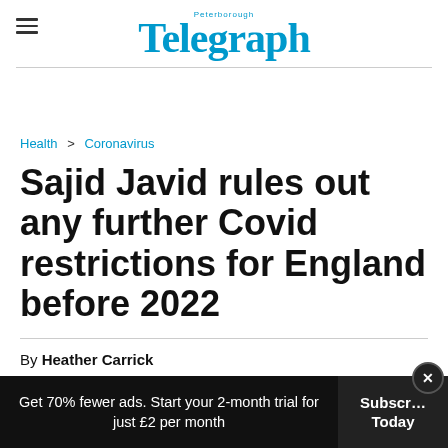Peterborough Telegraph
Health > Coronavirus
Sajid Javid rules out any further Covid restrictions for England before 2022
By Heather Carrick
Get 70% fewer ads. Start your 2-month trial for just £2 per month | Subscribe Today